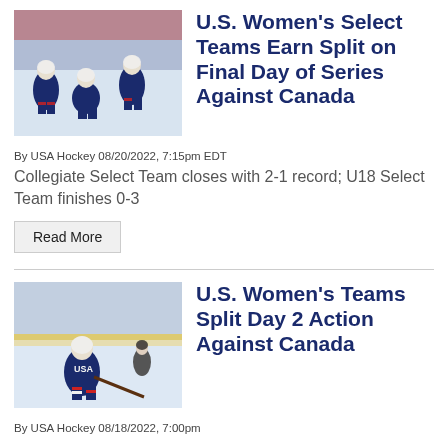[Figure (photo): U.S. women's ice hockey players celebrating on ice, wearing dark blue USA uniforms]
U.S. Women's Select Teams Earn Split on Final Day of Series Against Canada
By USA Hockey 08/20/2022, 7:15pm EDT
Collegiate Select Team closes with 2-1 record; U18 Select Team finishes 0-3
Read More
[Figure (photo): U.S. women's ice hockey player skating with puck, wearing dark blue USA uniform, referee in background]
U.S. Women's Teams Split Day 2 Action Against Canada
By USA Hockey 08/18/2022, 7:00pm